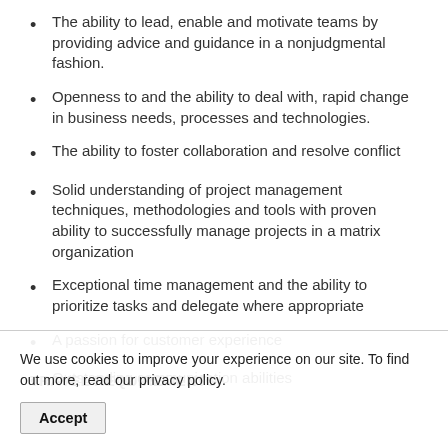The ability to lead, enable and motivate teams by providing advice and guidance in a nonjudgmental fashion.
Openness to and the ability to deal with, rapid change in business needs, processes and technologies.
The ability to foster collaboration and resolve conflict
Solid understanding of project management techniques, methodologies and tools with proven ability to successfully manage projects in a matrix organization
Exceptional time management and the ability to prioritize tasks and delegate where appropriate
A passion for customer experience
Outstanding communication abilities
TRAVEL REQUIREMENTS:
We use cookies to improve your experience on our site. To find out more, read our privacy policy.